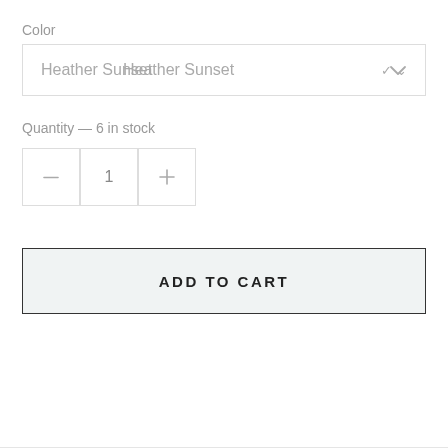Color
[Figure (screenshot): Dropdown selector showing 'Heather Sunset' with a chevron arrow]
Quantity — 6 in stock
[Figure (screenshot): Quantity stepper with minus button, value 1, and plus button]
ADD TO CART